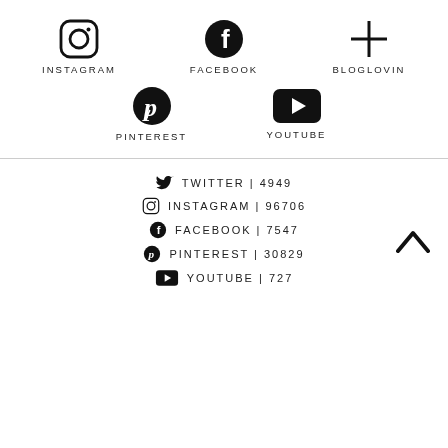[Figure (infographic): Social media icons (Instagram, Facebook, Bloglovin, Pinterest, YouTube) with labels arranged in two rows]
TWITTER | 4949
INSTAGRAM | 96706
FACEBOOK | 7547
PINTEREST | 30829
YOUTUBE | 727